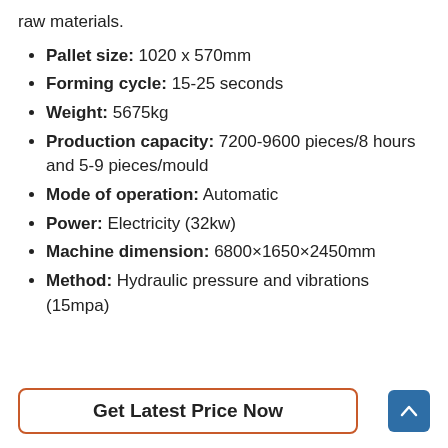raw materials.
Pallet size: 1020 x 570mm
Forming cycle: 15-25 seconds
Weight: 5675kg
Production capacity: 7200-9600 pieces/8 hours and 5-9 pieces/mould
Mode of operation: Automatic
Power: Electricity (32kw)
Machine dimension: 6800×1650×2450mm
Method: Hydraulic pressure and vibrations (15mpa)
Get Latest Price Now